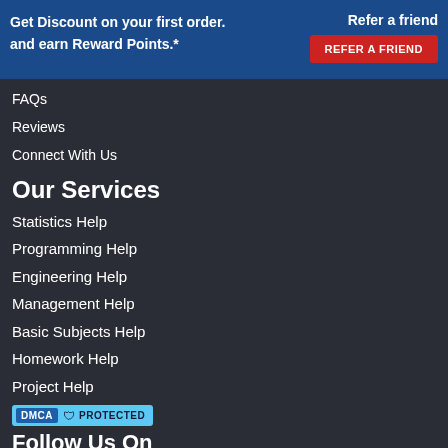Get Discount on your first order.
Refer a friend
and earn Reward Points.*
REFER A FRIEND
FAQs
Reviews
Connect With Us
Our Services
Statistics  Help
Programming Help
Engineering  Help
Management Help
Basic Subjects Help
Homework Help
Project Help
[Figure (logo): DMCA PROTECTED badge]
Follow Us On
[Figure (infographic): Social media icons: Facebook, Twitter, Instagram, Pinterest, LinkedIn]
100% Secure Payment